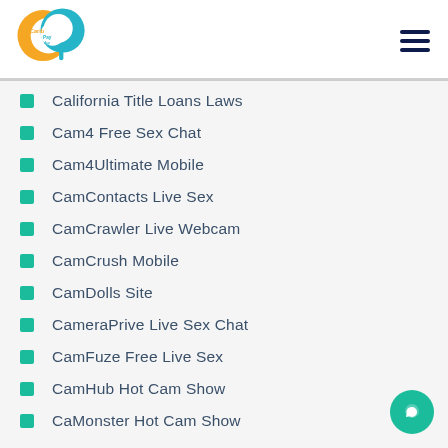Carib Pay App logo and navigation menu
California Title Loans Laws
Cam4 Free Sex Chat
Cam4Ultimate Mobile
CamContacts Live Sex
CamCrawler Live Webcam
CamCrush Mobile
CamDolls Site
CameraPrive Live Sex Chat
CamFuze Free Live Sex
CamHub Hot Cam Show
CaMonster Hot Cam Show